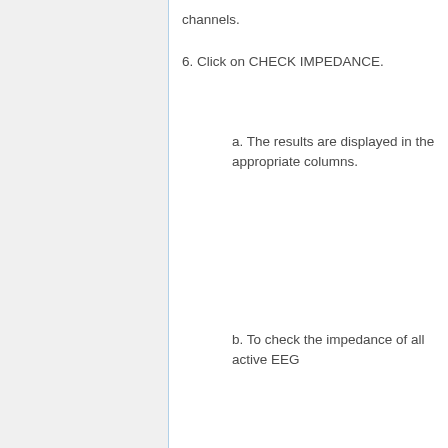channels.
6. Click on CHECK IMPEDANCE.
a. The results are displayed in the appropriate columns.
b. To check the impedance of all active EEG